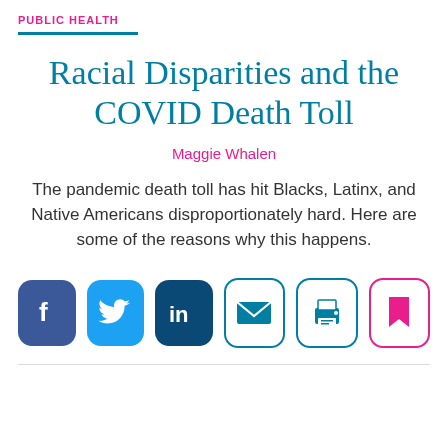PUBLIC HEALTH
Racial Disparities and the COVID Death Toll
Maggie Whalen
The pandemic death toll has hit Blacks, Latinx, and Native Americans disproportionately hard. Here are some of the reasons why this happens.
[Figure (infographic): Row of six social sharing icon buttons: Facebook (dark blue), Twitter (light blue), LinkedIn (dark navy), Email (teal outline), Print (teal outline), Bookmark (pink outline)]